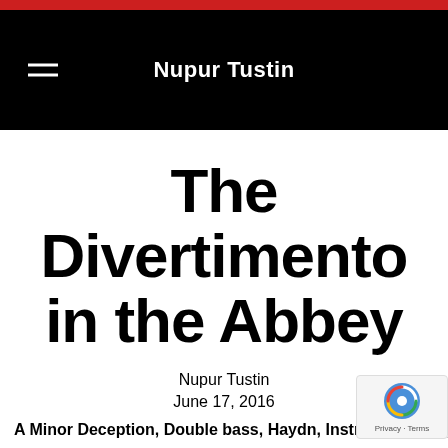Nupur Tustin
The Divertimento in the Abbey
Nupur Tustin
June 17, 2016
A Minor Deception, Double bass, Haydn, Instrumentation, opening scene, String qua